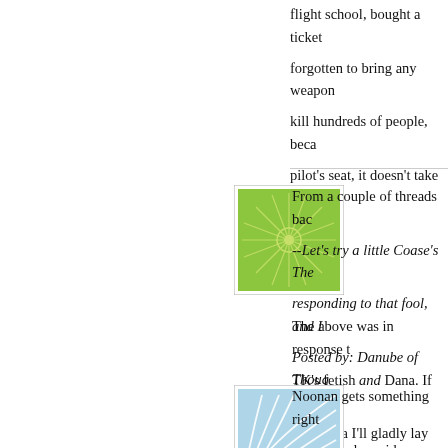flight school, bought a ticket forgotten to bring any weapons kill hundreds of people, beca pilot's seat, it doesn't take any
[Figure (illustration): Green decorative avatar icon with starburst/snowflake pattern on white background]
From a couple of threads bac --Let's try a little Coase's The responding to that fool, and I
Posted by: Danube of Thoug
The above was in response t TK's fetish and Dana. If you s and Dana I'll gladly lay off We As already noted, he's becom
[Figure (illustration): Blue decorative avatar icon with curved fan/wave pattern on white background]
Noonan gets something right someone else said:
A serious foreign-policy intell is that he's a Russian leader